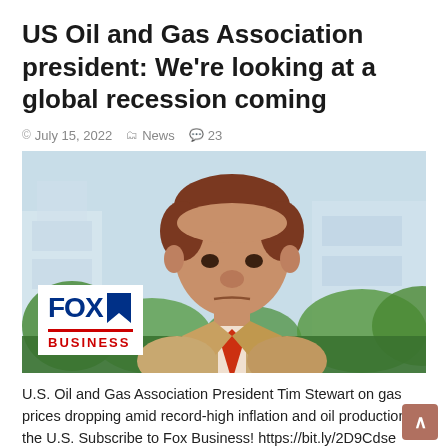US Oil and Gas Association president: We're looking at a global recession coming
© July 15, 2022  News  23
[Figure (photo): Screenshot from Fox Business News showing a man in a tan suit with a red tie, with Fox Business logo overlay in bottom left corner, background shows blurred government buildings and trees.]
U.S. Oil and Gas Association President Tim Stewart on gas prices dropping amid record-high inflation and oil production in the U.S. Subscribe to Fox Business! https://bit.ly/2D9Cdse Watch more Fox Business Video: https://video.foxbusiness.com Watch Fox Business